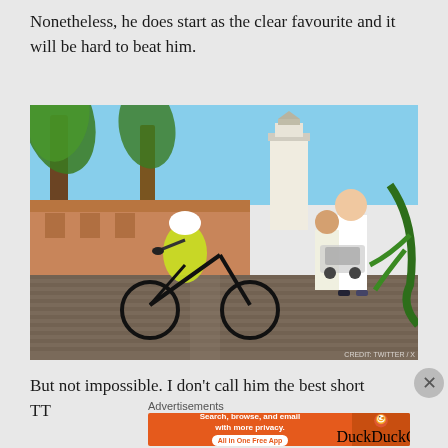Nonetheless, he does start as the clear favourite and it will be hard to beat him.
[Figure (photo): A cyclist in yellow racing gear riding a time trial bike on a cobblestone street, with palm trees, a white lighthouse tower, and spectators in the background.]
But not impossible. I don't call him the best short TT
Advertisements
[Figure (other): DuckDuckGo advertisement banner: 'Search, browse, and email with more privacy. All in One Free App' with the DuckDuckGo duck logo on an orange background.]